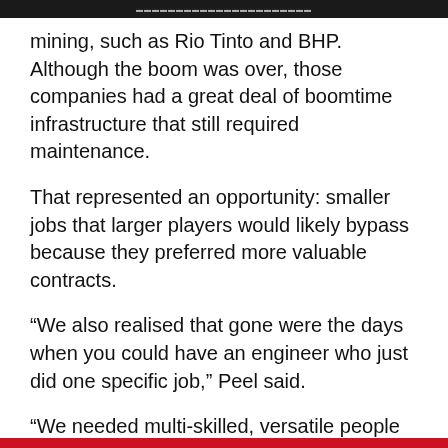mining, such as Rio Tinto and BHP. Although the boom was over, those companies had a great deal of boomtime infrastructure that still required maintenance.
That represented an opportunity: smaller jobs that larger players would likely bypass because they preferred more valuable contracts.
“We also realised that gone were the days when you could have an engineer who just did one specific job,” Peel said.
“We needed multi-skilled, versatile people who were capable of lots of different things. That would be good for the business, as we’d get more out of them, and good for them as they’d have great diversity in their roles.